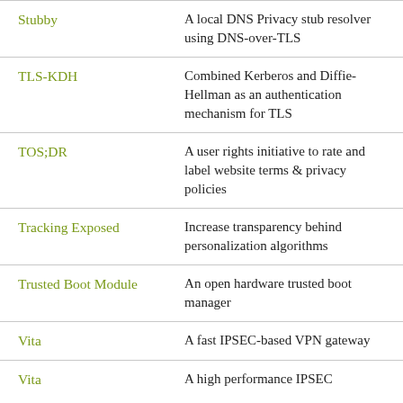| Name | Description |
| --- | --- |
| Stubby | A local DNS Privacy stub resolver using DNS-over-TLS |
| TLS-KDH | Combined Kerberos and Diffie-Hellman as an authentication mechanism for TLS |
| TOS;DR | A user rights initiative to rate and label website terms & privacy policies |
| Tracking Exposed | Increase transparency behind personalization algorithms |
| Trusted Boot Module | An open hardware trusted boot manager |
| Vita | A fast IPSEC-based VPN gateway |
| Vita | A high performance IPSEC... |